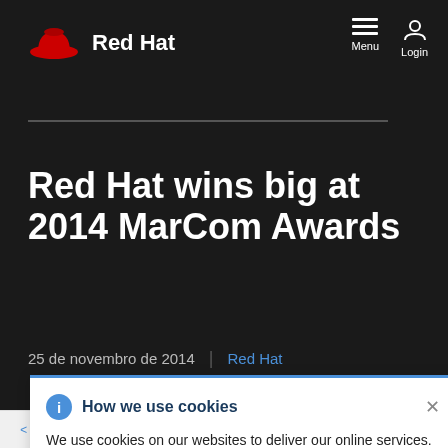[Figure (logo): Red Hat logo with red hat icon and white 'Red Hat' text on dark background, with Menu and Login navigation icons top right]
Red Hat wins big at 2014 MarCom Awards
25 de novembro de 2014 | Red Hat
How we use cookies
We use cookies on our websites to deliver our online services. Details about how we use cookies and how you may disable them are set out in our Privacy Statement. By using this website you agree to our use of cookies.
< Retornar a todos os artigos   Tags: Premiações